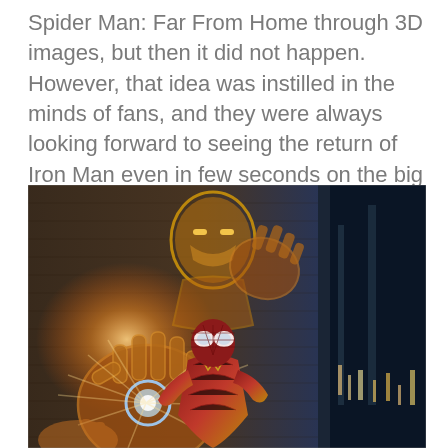Spider Man: Far From Home through 3D images, but then it did not happen. However, that idea was instilled in the minds of fans, and they were always looking forward to seeing the return of Iron Man even in few seconds on the big screen.
[Figure (photo): A young man in a Spider-Man suit (red and gold) crouches in front of a large mural painted on a brick wall depicting Iron Man with an outstretched glowing gauntlet hand. The background shows a night sky. The scene is from Spider-Man: Far From Home.]